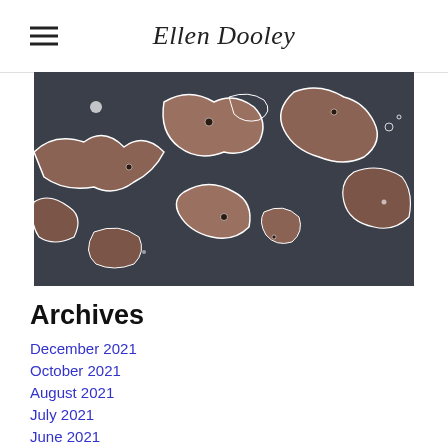Ellen Dooley
[Figure (photo): Abstract artwork photograph showing dark slate-colored forms with brown/rust colored irregular island-like shapes and white outlines, resembling a map or natural landscape viewed from above.]
Archives
December 2021
October 2021
August 2021
July 2021
June 2021